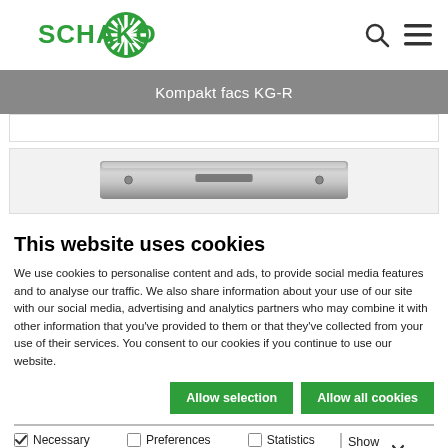[Figure (logo): Schako company logo — green circular snowflake/asterisk icon with green bold text SCHAKO]
[Figure (screenshot): Website navigation header with search icon and hamburger menu icon]
Kompakt facs KG-R
[Figure (photo): Metallic compact facs KG-R product bar/strip — grey metallic elongated element]
This website uses cookies
We use cookies to personalise content and ads, to provide social media features and to analyse our traffic. We also share information about your use of our site with our social media, advertising and analytics partners who may combine it with other information that you've provided to them or that they've collected from your use of their services. You consent to our cookies if you continue to use our website.
Allow selection
Allow all cookies
Necessary
Preferences
Statistics
Marketing
Show details